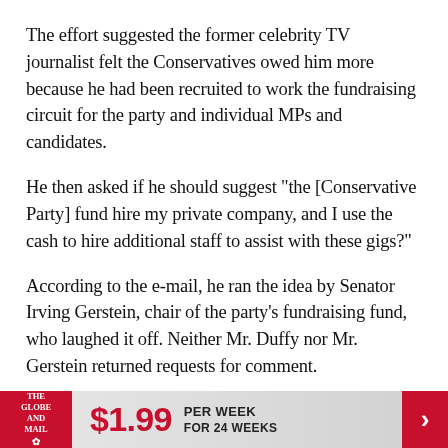The effort suggested the former celebrity TV journalist felt the Conservatives owed him more because he had been recruited to work the fundraising circuit for the party and individual MPs and candidates.
He then asked if he should suggest "the [Conservative Party] fund hire my private company, and I use the cash to hire additional staff to assist with these gigs?"
According to the e-mail, he ran the idea by Senator Irving Gerstein, chair of the party's fundraising fund, who laughed it off. Neither Mr. Duffy nor Mr. Gerstein returned requests for comment.
[Figure (other): The Globe and Mail subscription banner ad: logo on red background, price $1.99 per week for 24 weeks, red arrow button on right]